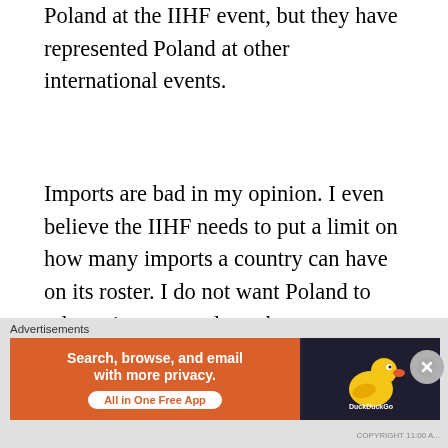Poland at the IIHF event, but they have represented Poland at other international events.
Imports are bad in my opinion. I even believe the IIHF needs to put a limit on how many imports a country can have on its roster. I do not want Poland to rely on imports and see them as a way to improve the team. Cichy, Danton, Raszka, Sublowski, and Szczechura are all tremendous players and would improve Poland's team and possibly finally take Poland back to the elite division, but they can't and
Advertisements
[Figure (other): DuckDuckGo advertisement banner: orange section with text 'Search, browse, and email with more privacy. All in One Free App' and dark section with DuckDuckGo logo (duck icon)]